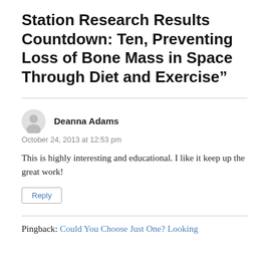Station Research Results Countdown: Ten, Preventing Loss of Bone Mass in Space Through Diet and Exercise”
Deanna Adams
October 24, 2013 at 12:53 pm
This is highly interesting and educational. I like it keep up the great work!
Reply
Pingback: Could You Choose Just One? Looking